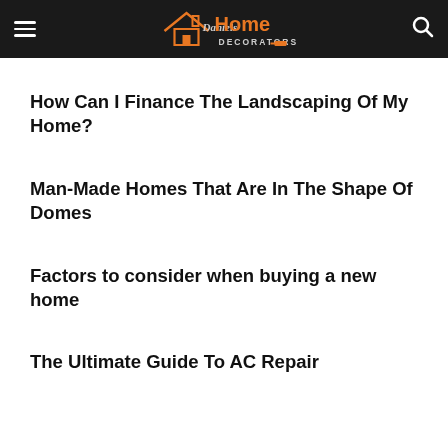Daniels Home Decorators
How Can I Finance The Landscaping Of My Home?
Man-Made Homes That Are In The Shape Of Domes
Factors to consider when buying a new home
The Ultimate Guide To AC Repair